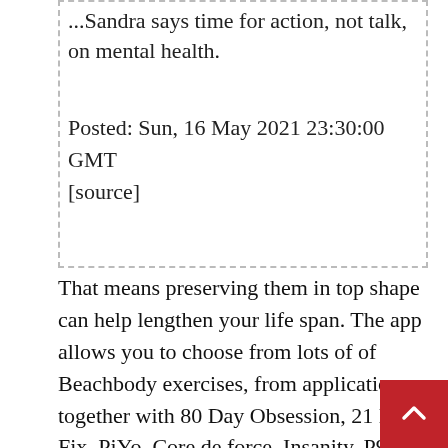...Sandra says time for action, not talk, on mental health.
Posted: Sun, 16 May 2021 23:30:00 GMT
[source]
That means preserving them in top shape can help lengthen your life span. The app allows you to choose from lots of of Beachbody exercises, from applications together with 80 Day Obsession, 21 Day Fix, PiYo, Core de force, Insanity, P90X, and 3 Week Yoga Retreat. There is even a bunch of personalized meal plans so you’ve got got your nutrition coated, too, and on top of this, you get access to Beachbody’s own wholesome cooking present, Fixate. It’s January and as the cliche g... many of us might be itching to get back on high... our health and fitness goals. If the budget is